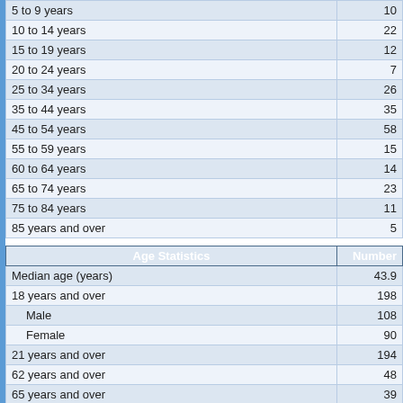| Age Group | Number |
| --- | --- |
| 5 to 9 years | 10 |
| 10 to 14 years | 22 |
| 15 to 19 years | 12 |
| 20 to 24 years | 7 |
| 25 to 34 years | 26 |
| 35 to 44 years | 35 |
| 45 to 54 years | 58 |
| 55 to 59 years | 15 |
| 60 to 64 years | 14 |
| 65 to 74 years | 23 |
| 75 to 84 years | 11 |
| 85 years and over | 5 |
| Age Statistics | Number |
| --- | --- |
| Median age (years) | 43.9 |
| 18 years and over | 198 |
| Male | 108 |
| Female | 90 |
| 21 years and over | 194 |
| 62 years and over | 48 |
| 65 years and over | 39 |
| Male | 19 |
| Female | 20 |
Additional Age Reports
Average Population Age in Nebraska by City
Percentage of Children Under 10 in Nebraska by City
Percentage of Seniors Over 65 in Nebraska by City